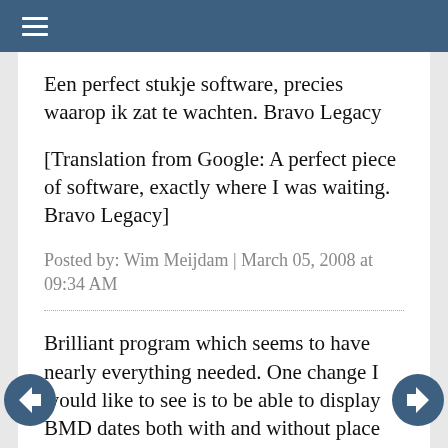≡
Een perfect stukje software, precies waarop ik zat te wachten. Bravo Legacy
[Translation from Google: A perfect piece of software, exactly where I was waiting. Bravo Legacy]
Posted by: Wim Meijdam | March 05, 2008 at 09:34 AM
Brilliant program which seems to have nearly everything needed. One change I would like to see is to be able to display BMD dates both with and without place names. Any chance or have I missed something?